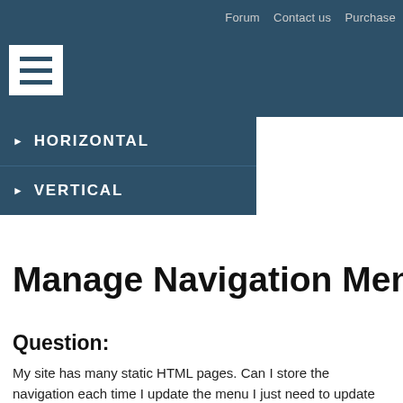Forum   Contact us   Purchase
[Figure (illustration): Hamburger menu icon (three horizontal lines) in white box on dark navy header]
▶ HORIZONTAL
▶ VERTICAL
Manage Navigation Menu in One
Question:
My site has many static HTML pages. Can I store the navigation each time I update the menu I just need to update one HTML co